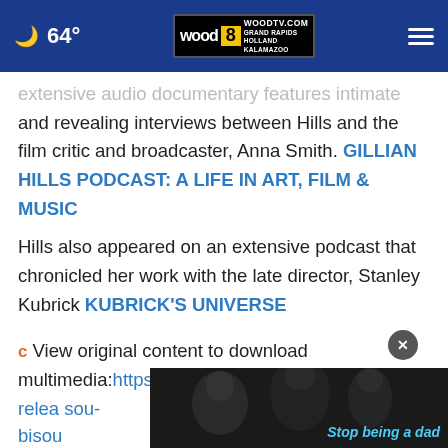64° WOODTV.COM GRAND RAPIDS HOLLAND KALAMAZOO
extensive audio documentary features intimate and revealing interviews between Hills and the film critic and broadcaster, Anna Smith. GILLIAN HILLS PODCAST: A LIFE IN ART, FILM & MUSIC
Hills also appeared on an extensive podcast that chronicled her work with the late director, Stanley Kubrick KUBRICK'S UNIVERSE
View original content to download multimedia:https://www.prnewswire.com/news-releases/...sou-bisou...
[Figure (screenshot): Advertisement overlay showing a child and adult in black and white photo with text 'Stop being a dad' in blue, with a close button (X)]